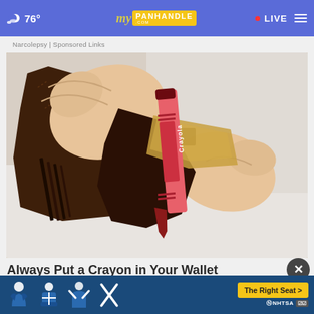76° myPANHANDLE.COM · LIVE
Narcolepsy | Sponsored Links
[Figure (photo): Hands holding open a brown leather wallet containing a red Crayola crayon and some euro banknotes]
Always Put a Crayon in Your Wallet when Trav
So go o
[Figure (infographic): NHTSA car seat safety advertisement banner with child seat icons and The Right Seat CTA button]